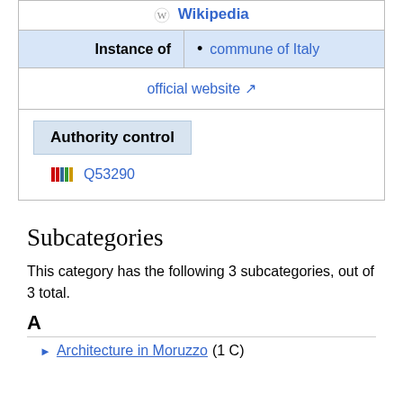| Wikipedia |
| Instance of | commune of Italy |
| official website ↗ |
| Authority control | Q53290 |
Subcategories
This category has the following 3 subcategories, out of 3 total.
A
Architecture in Moruzzo (1 C)